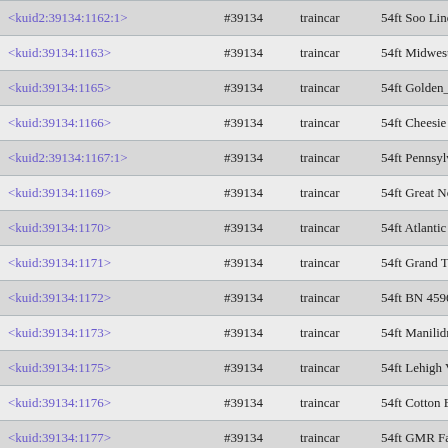| kuid | number | type | description |
| --- | --- | --- | --- |
| <kuid2:39134:1162:1> | #39134 | traincar | 54ft Soo Line covered hopper |
| <kuid:39134:1163> | #39134 | traincar | 54ft Midwestern Grain covered ho |
| <kuid:39134:1165> | #39134 | traincar | 54ft Golden_West covered hopper |
| <kuid:39134:1166> | #39134 | traincar | 54ft Cheesie covered hopper |
| <kuid2:39134:1167:1> | #39134 | traincar | 54ft Pennsylvania Power covered |
| <kuid:39134:1169> | #39134 | traincar | 54ft Great Northern covered hopp |
| <kuid:39134:1170> | #39134 | traincar | 54ft Atlantic & Western covered h |
| <kuid:39134:1171> | #39134 | traincar | 54ft Grand Trunk Western covered |
| <kuid:39134:1172> | #39134 | traincar | 54ft BN 459690 covered hopper |
| <kuid:39134:1173> | #39134 | traincar | 54ft Manilidra Flour Mills covere |
| <kuid:39134:1175> | #39134 | traincar | 54ft Lehigh Valley covered hoppe |
| <kuid:39134:1176> | #39134 | traincar | 54ft Cotton Belt covered hopper |
| <kuid:39134:1177> | #39134 | traincar | 54ft GMR Farmers Grain covered |